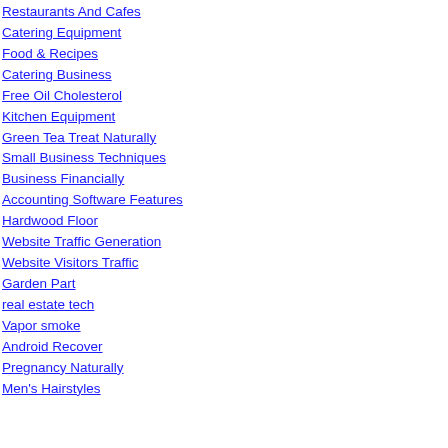Restaurants And Cafes
Catering Equipment
Food & Recipes
Catering Business
Free Oil Cholesterol
Kitchen Equipment
Green Tea Treat Naturally
Small Business Techniques
Business Financially
Accounting Software Features
Hardwood Floor
Website Traffic Generation
Website Visitors Traffic
Garden Part
real estate tech
Vapor smoke
Android Recover
Pregnancy Naturally
Men's Hairstyles